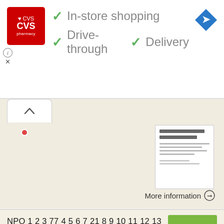[Figure (screenshot): CVS Pharmacy logo — red square with white heart and CVS pharmacy text]
✓ In-store shopping
✓ Drive-through ✓ Delivery
[Figure (screenshot): Blue diamond navigation arrow icon]
[Figure (screenshot): Map/card area with chevron-up button and Japanese document thumbnail]
More information →
NPO 1 2 3 77 4 5 6 7 21 8 9 10 11 12 13 14 15 16 17 18 19 20 21 22 23 24 25 26 27 28 29 30 31 32 33 34 35 36 37 38 39 40 41 42 43 44 45 46 47 48 49 50 51 52 53 54 55 56 57 58 59 60 61 62 63 64 65 66 67
[Figure (photo): Green product package thumbnail]
More information →